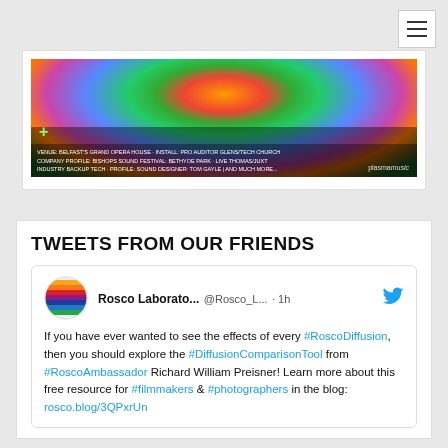[Figure (photo): Concert/event photo with colorful lighting and crowd, with text overlays and Plasma logo]
TWEETS FROM OUR FRIENDS
Rosco Laborato... @Rosco_L... · 1h
If you have ever wanted to see the effects of every #RoscoDiffusion, then you should explore the #DiffusionComparisonTool from #RoscoAmbassador Richard William Preisner! Learn more about this free resource for #filmmakers & #photographers in the blog: rosco.blog/3QPxrUn